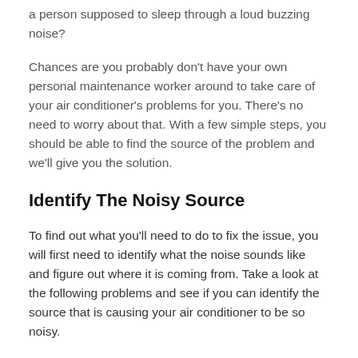a person supposed to sleep through a loud buzzing noise?
Chances are you probably don't have your own personal maintenance worker around to take care of your air conditioner's problems for you. There's no need to worry about that. With a few simple steps, you should be able to find the source of the problem and we'll give you the solution.
Identify The Noisy Source
To find out what you'll need to do to fix the issue, you will first need to identify what the noise sounds like and figure out where it is coming from. Take a look at the following problems and see if you can identify the source that is causing your air conditioner to be so noisy.
A noisy air conditioner is a sign that something isn't working right. If you don't identify the problem and find a solution something could go wrong, leading to a breakdown.
My Air Conditioner Is Always Running